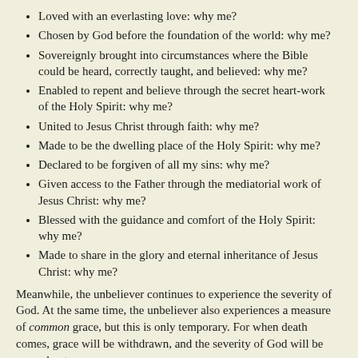Loved with an everlasting love: why me?
Chosen by God before the foundation of the world: why me?
Sovereignly brought into circumstances where the Bible could be heard, correctly taught, and believed: why me?
Enabled to repent and believe through the secret heart-work of the Holy Spirit: why me?
United to Jesus Christ through faith: why me?
Made to be the dwelling place of the Holy Spirit: why me?
Declared to be forgiven of all my sins: why me?
Given access to the Father through the mediatorial work of Jesus Christ: why me?
Blessed with the guidance and comfort of the Holy Spirit: why me?
Made to share in the glory and eternal inheritance of Jesus Christ: why me?
Meanwhile, the unbeliever continues to experience the severity of God. At the same time, the unbeliever also experiences a measure of common grace, but this is only temporary. For when death comes, grace will be withdrawn, and the severity of God will be poured out